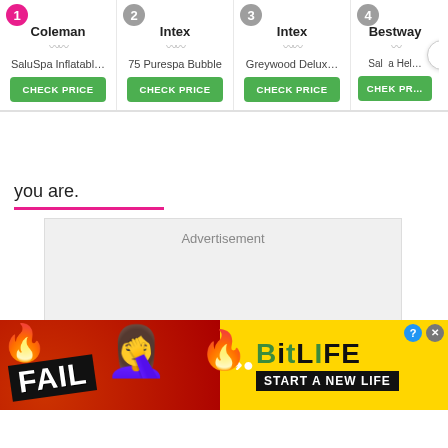[Figure (screenshot): Product comparison bar showing 4 product cards: 1. Coleman SaluSpa Inflatabl..., 2. Intex 75 Purespa Bubble, 3. Intex Greywood Delux..., 4. Bestway Sal...a Hel... each with a CHECK PRICE green button and numbered badges. A next arrow is visible on the right.]
you are.
[Figure (other): Advertisement placeholder box with gray background and the word 'Advertisement' at the top center.]
[Figure (other): Banner advertisement for BitLife mobile game showing 'FAIL' text, cartoon emoji, flames, BitLife logo in yellow, and 'START A NEW LIFE' tagline on black background. Has close and help buttons.]